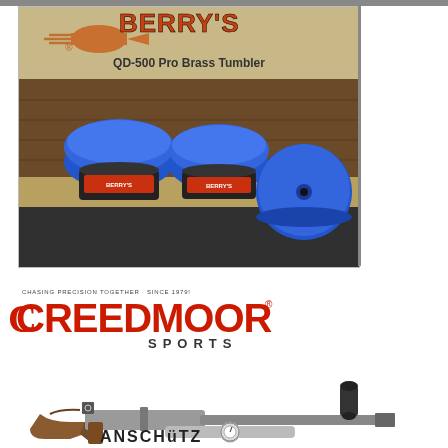[Figure (photo): Berry's QD-500 Pro Brass Tumbler advertisement. Shows the Berry's logo with a bullet graphic at top, text 'QD-500 Pro Brass Tumbler', and a photo of blue vibratory tumbler units on a wooden surface.]
[Figure (photo): Creedmoor Sports advertisement. Shows 'CHASING PRECISION TOGETHER · SINCE 1979!' tagline, Creedmoor Sports logo in red, and a photo of an Anschutz precision rifle.]